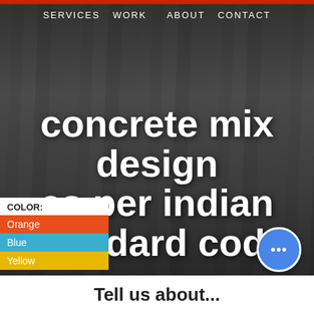SERVICES  WORK  ABOUT  CONTACT
concrete mix design as per indian standard code
COLOR:
Orange
Blue
Yellow
[Figure (screenshot): Chat/messaging button icon (blue circle with three dots)]
Tell us about...